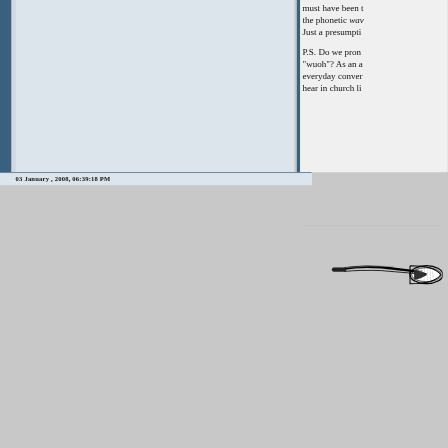must have been the phonetic wav Just a presumptio P.S. Do we prono "wuoh"? As an a everyday conver hear in church li
[Figure (illustration): A black and white illustration of a trumpet or horn instrument, viewed from the side, showing the bell flare and partial valve section.]
03 January , 2008, 06:39:18 PM